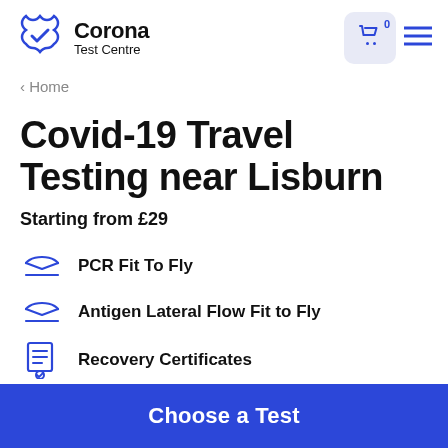Corona Test Centre
< Home
Covid-19 Travel Testing near Lisburn
Starting from £29
PCR Fit To Fly
Antigen Lateral Flow Fit to Fly
Recovery Certificates
Choose a Test